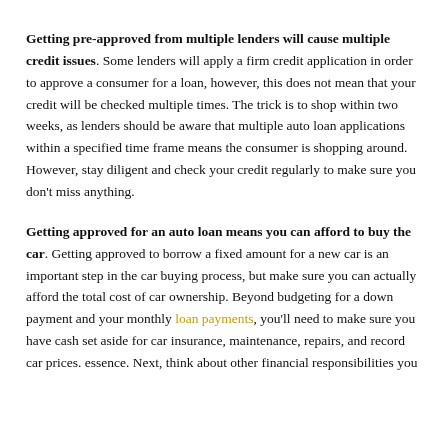Getting pre-approved from multiple lenders will cause multiple credit issues. Some lenders will apply a firm credit application in order to approve a consumer for a loan, however, this does not mean that your credit will be checked multiple times. The trick is to shop within two weeks, as lenders should be aware that multiple auto loan applications within a specified time frame means the consumer is shopping around. However, stay diligent and check your credit regularly to make sure you don't miss anything.
Getting approved for an auto loan means you can afford to buy the car. Getting approved to borrow a fixed amount for a new car is an important step in the car buying process, but make sure you can actually afford the total cost of car ownership. Beyond budgeting for a down payment and your monthly loan payments, you'll need to make sure you have cash set aside for car insurance, maintenance, repairs, and record car prices. essence. Next, think about other financial responsibilities you